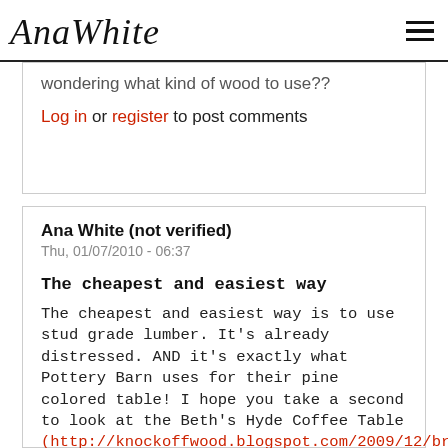AnaWhite [hamburger menu icon]
wondering what kind of wood to use??
Log in or register to post comments
Ana White (not verified)
Thu, 01/07/2010 - 06:37
The cheapest and easiest way
The cheapest and easiest way is to use stud grade lumber. It's already distressed. AND it's exactly what Pottery Barn uses for their pine colored table! I hope you take a second to look at the Beth's Hyde Coffee Table (http://knockoffwood.blogspot.com/2009/12/bragging-board.html ) and End Table